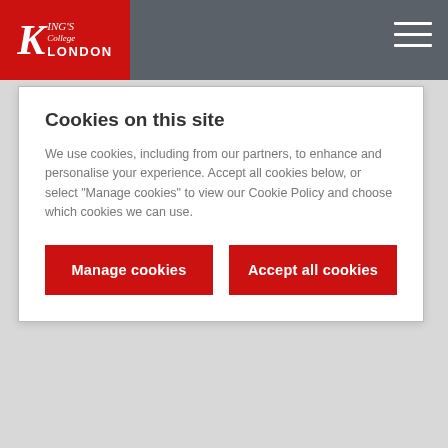King's College London
Cookies on this site
We use cookies, including from our partners, to enhance and personalise your experience. Accept all cookies below, or select "Manage cookies" to view our Cookie Policy and choose which cookies we can use.
Manage cookies
Accept all cookies
Visiting Researcher
[Figure (photo): Portrait photo of a young woman with dark hair, smiling, shown in a circular crop]